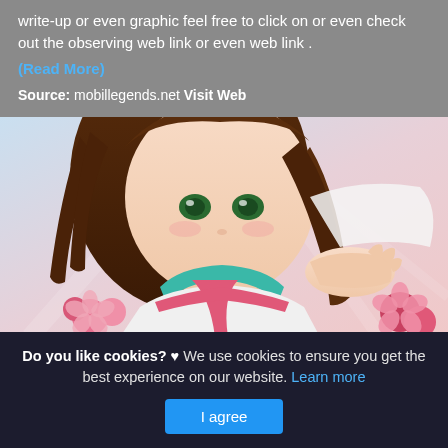write-up or even graphic feel free to click on or even check out the observing web link or even web link . (Read More)
Source: mobillegends.net Visit Web
[Figure (illustration): Close-up illustration of an anime-style chibi character with short brown hair, wearing a white outfit with pink sash/ribbons and teal collar. The character has large eyes and is posed with one hand extended outward. Pink cherry blossom flowers are visible at the bottom. Background has soft pinkish-blue hues.]
Do you like cookies? ♥ We use cookies to ensure you get the best experience on our website. Learn more
I agree